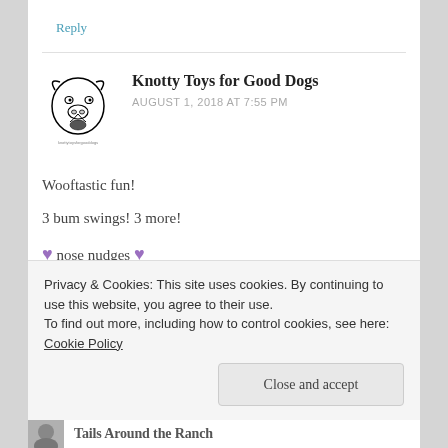Reply
[Figure (illustration): Black and white line drawing of a dog's face (bull terrier style), used as a commenter avatar for Knotty Toys for Good Dogs]
Knotty Toys for Good Dogs
AUGUST 1, 2018 AT 7:55 PM
Wooftastic fun!
3 bum swings! 3 more!

💜 nose nudges 💜
Privacy & Cookies: This site uses cookies. By continuing to use this website, you agree to their use.
To find out more, including how to control cookies, see here: Cookie Policy
Close and accept
Tails Around the Ranch